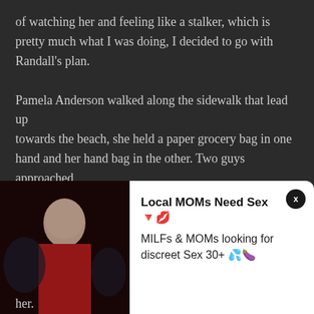of watching her and feeling like a stalker, which is pretty much what I was doing, I decided to go with Randall's plan.

Pamela Anderson walked along the sidewalk that lead up
towards the beach, she held a paper grocery bag in one
hand and her hand bag in the other. Two guys approached
her from behind. It was Randall and Brendan, they were
dressed in black, with black masks on, the kind that
[Figure (photo): Photo of a woman in red dress/costume at a party or event]
Local MOMs Need Sex 🔻💋
MILFs & MOMs looking for discreet Sex 30+ 💦🍆
her.